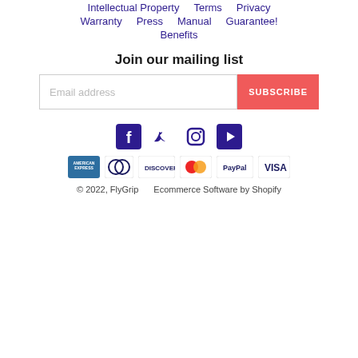Intellectual Property   Terms   Privacy
Warranty   Press   Manual   Guarantee!
Benefits
Join our mailing list
[Figure (other): Email subscription form with email address input and SUBSCRIBE button]
[Figure (other): Social media icons: Facebook, Twitter, Instagram, YouTube in dark purple/navy]
[Figure (other): Payment method logos: American Express, Diners Club, Discover, MasterCard, PayPal, Visa]
© 2022, FlyGrip     Ecommerce Software by Shopify